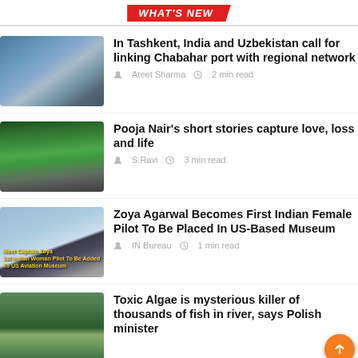WHAT'S NEW
In Tashkent, India and Uzbekistan call for linking Chabahar port with regional network
Ateet Sharma  2 min read
Pooja Nair's short stories capture love, loss and life
S.Ravi  3 min read
Zoya Agarwal Becomes First Indian Female Pilot To Be Placed In US-Based Museum
IN Bureau  1 min read
Toxic Algae is mysterious killer of thousands of fish in river, says Polish minister